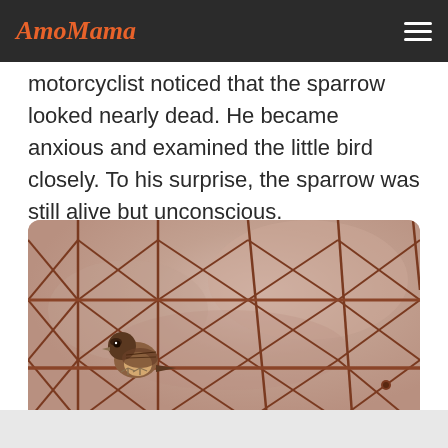AmoMama
motorcyclist noticed that the sparrow looked nearly dead. He became anxious and examined the little bird closely. To his surprise, the sparrow was still alive but unconscious.
[Figure (photo): A small sparrow perched on a rusty wire fence, with a blurred beige/taupe background. The bird is small and fluffy, positioned in the lower-left area of the image.]